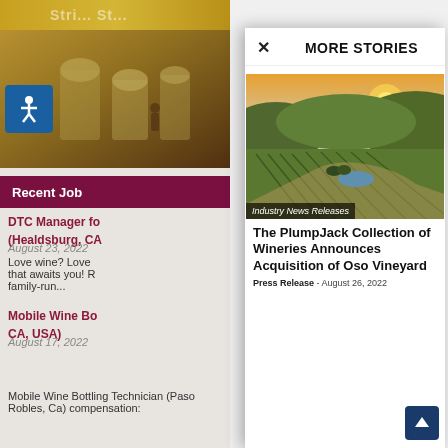[Figure (photo): Top banner area with golden/amber winery equipment background]
[Figure (photo): Winery interior with large metal tanks and warm golden lighting]
Recent Job
DTC Manager fo (Healdsburg, CA
August 23, 2022
Love wine? Love that awaits you! R family-run...
Mobile Wine Bo CA, USA)
August 17, 2022
Mobile Wine Bottling Technician (Paso Robles, Ca) compensation:
MORE STORIES
[Figure (photo): Aerial photograph of Oso Vineyard showing green vineyard rows, dirt paths, pond, and surrounding hills with sunset light]
Industry News Releases
The PlumpJack Collection of Wineries Announces Acquisition of Oso Vineyard
Press Release - August 26, 2022